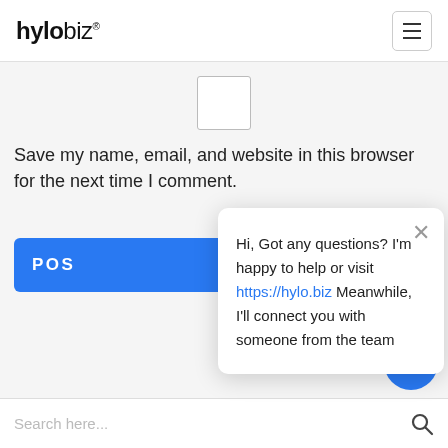[Figure (logo): hylobiz logo with hamburger menu icon]
[Figure (screenshot): Checkbox UI element (empty checkbox)]
Save my name, email, and website in this browser for the next time I comment.
[Figure (screenshot): Blue POST COMMENT button partially visible]
Hi, Got any questions? I'm happy to help or visit https://hylo.biz Meanwhile, I'll connect you with someone from the team
[Figure (screenshot): Blue chat bubble button]
Search here...